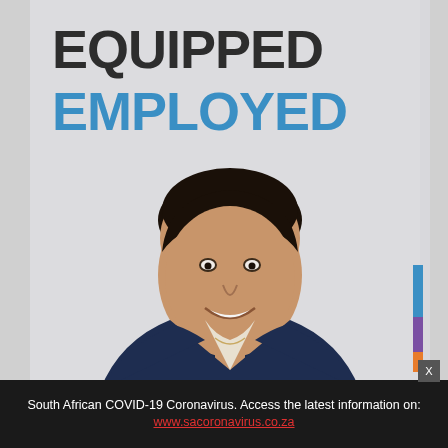[Figure (photo): Advertisement poster showing a smiling professional woman in a dark blazer, with text 'EQUIPPED' in dark grey bold and 'EMPLOYED' in bold blue, with colored vertical bars (blue, purple, orange) on the right side. Background is light grey. South African employment/training promotional material.]
South African COVID-19 Coronavirus. Access the latest information on: www.sacoronavirus.co.za